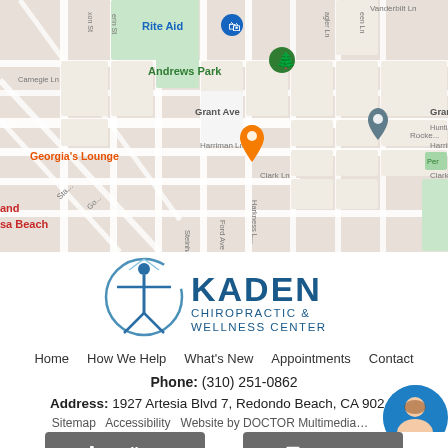[Figure (map): Google Maps view showing street map of Redondo Beach area with markers for Rite Aid, Andrews Park, Georgia's Lounge, and Laurence Ammon Widmer Homes]
[Figure (logo): Kaden Chiropractic & Wellness Center logo with stylized human figure in circular frame]
Home   How We Help   What's New   Appointments   Contact
Phone: (310) 251-0862
Address: 1927 Artesia Blvd 7, Redondo Beach, CA 902...
Sitemap   Accessibility   Website by DOCTOR Multimedia
Call Us   Text Us